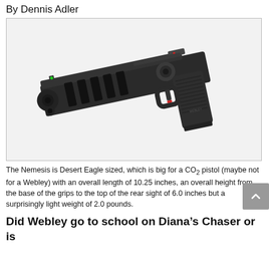By Dennis Adler
[Figure (photo): A dark gray/black CO2 pistol (Webley Nemesis) shown at an angle with a long barrel, ventilation ports, fiber optic sights, and textured grip. The pistol is Desert Eagle sized.]
The Nemesis is Desert Eagle sized, which is big for a CO2 pistol (maybe not for a Webley) with an overall length of 10.25 inches, an overall height from the base of the grips to the top of the rear sight of 6.0 inches but a surprisingly light weight of 2.0 pounds.
Did Webley go to school on Diana’s Chaser or is